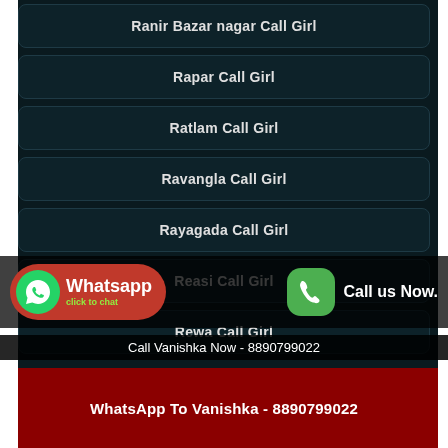Ranir Bazar nagar Call Girl
Rapar Call Girl
Ratlam Call Girl
Ravangla Call Girl
Rayagada Call Girl
Reasi Call Girl
Rewa Call Girl
Whatsapp click to chat
Call us Now.
Call Vanishka Now - 8890799022
WhatsApp To Vanishka - 8890799022